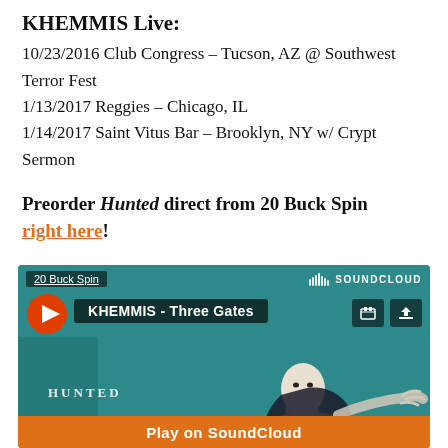KHEMMIS Live:
10/23/2016 Club Congress – Tucson, AZ @ Southwest Terror Fest
1/13/2017 Reggies – Chicago, IL
1/14/2017 Saint Vitus Bar – Brooklyn, NY w/ Crypt Sermon
Preorder Hunted direct from 20 Buck Spin right here!
[Figure (screenshot): SoundCloud embed player showing KHEMMIS - Three Gates track from 20 Buck Spin, with teal album art featuring a white-bearded figure, play button, track name overlay, and Play on SoundCloud orange bar at the bottom.]